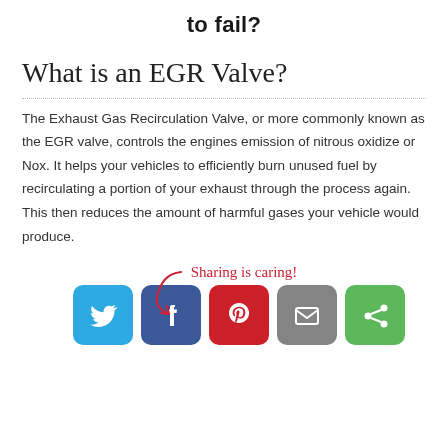to fail?
What is an EGR Valve?
The Exhaust Gas Recirculation Valve, or more commonly known as the EGR valve, controls the engines emission of nitrous oxidize or Nox. It helps your vehicles to efficiently burn unused fuel by recirculating a portion of your exhaust through the process again. This then reduces the amount of harmful gases your vehicle would produce.
[Figure (infographic): Sharing is caring! text with a red arrow, followed by social sharing buttons for Twitter, Facebook, Pinterest, Email, and ShareThis]